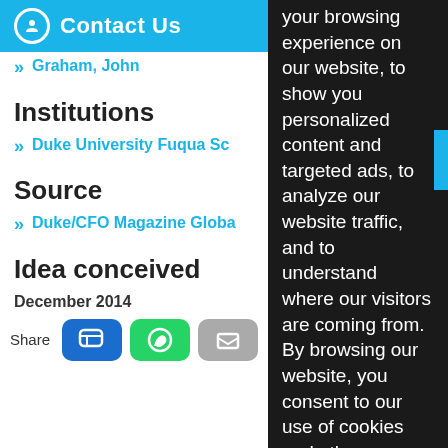Contact Us
Authors
Graham, John
Institutions
Duke University Fuqua Sc…
Source
Duke/CFO Magazine Globa…
Idea conceived
December 2014
Share
your browsing experience on our website, to show you personalized content and targeted ads, to analyze our website traffic, and to understand where our visitors are coming from. By browsing our website, you consent to our use of cookies and other tracking technologies.
I agree
Change my preferences